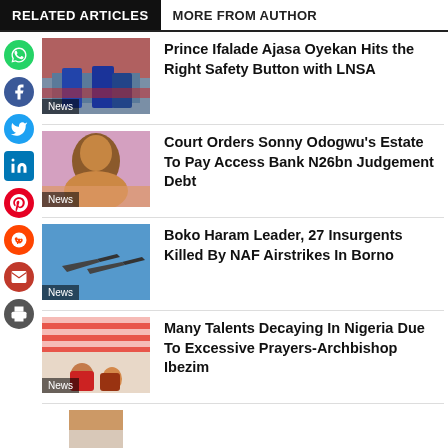RELATED ARTICLES   MORE FROM AUTHOR
[Figure (photo): News article thumbnail: people in blue uniforms with red crates, labeled News]
Prince Ifalade Ajasa Oyekan Hits the Right Safety Button with LNSA
[Figure (photo): News article thumbnail: headshot of bald man, labeled News]
Court Orders Sonny Odogwu's Estate To Pay Access Bank N26bn Judgement Debt
[Figure (photo): News article thumbnail: military jets in blue sky, labeled News]
Boko Haram Leader, 27 Insurgents Killed By NAF Airstrikes In Borno
[Figure (photo): News article thumbnail: outdoor celebration with tent, labeled News]
Many Talents Decaying In Nigeria Due To Excessive Prayers-Archbishop Ibezim
[Figure (photo): News article thumbnail: partial bottom thumbnail visible]